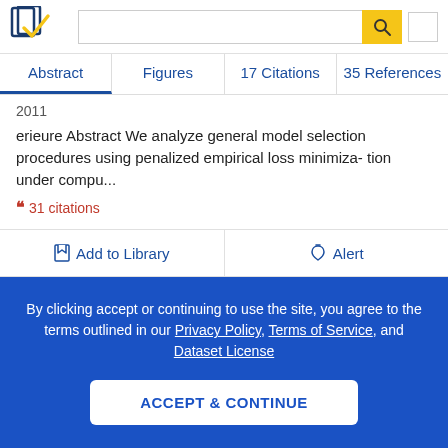[Figure (logo): Semantic Scholar logo - stylized document pages icon in dark blue and gold checkmark]
Abstract | Figures | 17 Citations | 35 References
2011
erieure Abstract We analyze general model selection procedures using penalized empirical loss minimiza- tion under compu...
31 citations
Add to Library
Alert
By clicking accept or continuing to use the site, you agree to the terms outlined in our Privacy Policy, Terms of Service, and Dataset License
ACCEPT & CONTINUE